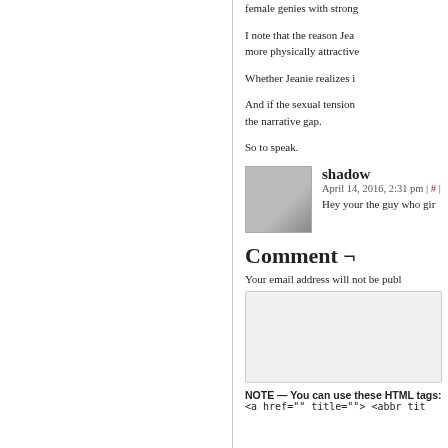female genies with strong
I note that the reason Jea more physically attractive
Whether Jeanie realizes i
And if the sexual tension the narrative gap.
So to speak.
shadow
April 14, 2016, 2:31 pm | # |
Hey your the guy who gir
Comment ¬
Your email address will not be publ
NOTE — You can use these HTML tags:
<a href="" title=""> <abbr tit